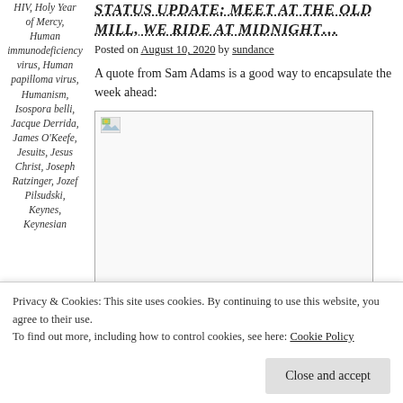HIV, Holy Year of Mercy, Human immunodeficiency virus, Human papilloma virus, Humanism, Isospora belli, Jacque Derrida, James O'Keefe, Jesuits, Jesus Christ, Joseph Ratzinger, Jozef Pilsudski, Keynes, Keynesian
Status Update: Meet At The Old Mill, We Ride at Midnight...
Posted on August 10, 2020 by sundance
A quote from Sam Adams is a good way to encapsulate the week ahead:
[Figure (photo): Broken/placeholder image in a bordered box]
Privacy & Cookies: This site uses cookies. By continuing to use this website, you agree to their use. To find out more, including how to control cookies, see here: Cookie Policy
Close and accept